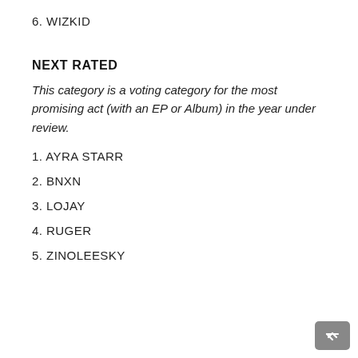6. WIZKID
NEXT RATED
This category is a voting category for the most promising act (with an EP or Album) in the year under review.
1. AYRA STARR
2. BNXN
3. LOJAY
4. RUGER
5. ZINOLEESKY